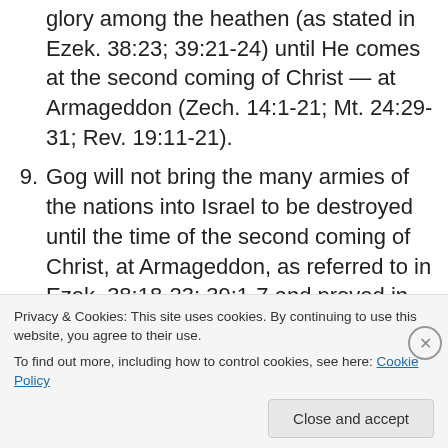glory among the heathen (as stated in Ezek. 38:23; 39:21-24) until He comes at the second coming of Christ — at Armageddon (Zech. 14:1-21; Mt. 24:29-31; Rev. 19:11-21).
9. Gog will not bring the many armies of the nations into Israel to be destroyed until the time of the second coming of Christ, at Armageddon, as referred to in Ezek. 38:18-23; 39:1-7 and proved in Zech. 14:1-5; Rev. 16:13-16; 19:11-21.
10. The great earthquake of Ezek. 38:20 will not take place until the seventh vial and the second coming (Zech.
Privacy & Cookies: This site uses cookies. By continuing to use this website, you agree to their use.
To find out more, including how to control cookies, see here: Cookie Policy